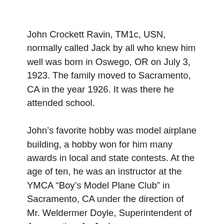John Crockett Ravin, TM1c, USN, normally called Jack by all who knew him well was born in Oswego, OR on July 3, 1923. The family moved to Sacramento, CA in the year 1926. It was there he attended school.
John's favorite hobby was model airplane building, a hobby won for him many awards in local and state contests. At the age of ten, he was an instructor at the YMCA “Boy’s Model Plane Club” in Sacramento, CA under the direction of Mr. Weldermer Doyle, Superintendent of Aeronautics. As Jack grew